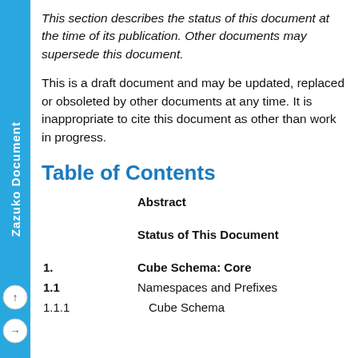This section describes the status of this document at the time of its publication. Other documents may supersede this document.
This is a draft document and may be updated, replaced or obsoleted by other documents at any time. It is inappropriate to cite this document as other than work in progress.
Table of Contents
Abstract
Status of This Document
1.     Cube Schema: Core
1.1    Namespaces and Prefixes
1.1.1      Cube Schema